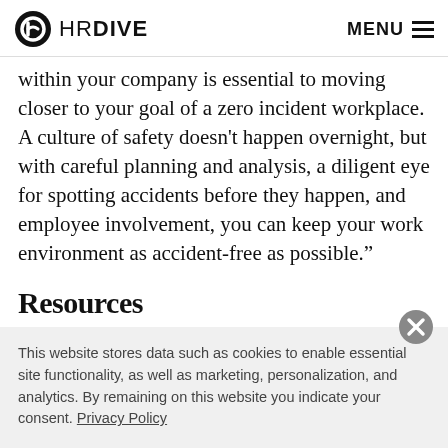HR DIVE  MENU
within your company is essential to moving closer to your goal of a zero incident workplace. A culture of safety doesn't happen overnight, but with careful planning and analysis, a diligent eye for spotting accidents before they happen, and employee involvement, you can keep your work environment as accident-free as possible.”
Resources
This website stores data such as cookies to enable essential site functionality, as well as marketing, personalization, and analytics. By remaining on this website you indicate your consent. Privacy Policy